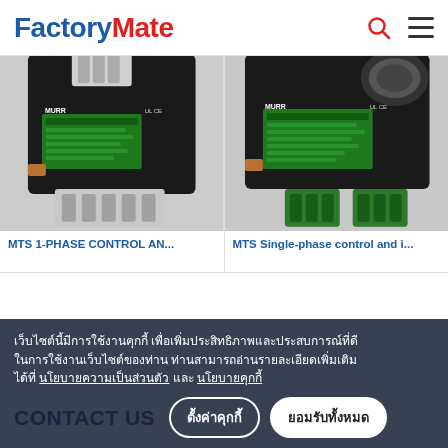FactoryMate
[Figure (photo): MTS 1-phase control and isolation transformer by Murr Elektronik, black box with white and gray terminal connectors, green label with specifications]
MTS 1-PHASE CONTROL AN...
[Figure (photo): MTS Single-phase control and isolation transformer by Murr Elektronik, black box with green terminal connectors and copper lug, green label with specifications]
MTS Single-phase control and i...
เว็บไซต์นี้มีการใช้งานคุกกี้ เพื่อเพิ่มประสิทธิภาพและประสบการณ์ที่ดีในการใช้งานเว็บไซต์ของท่าน ท่านสามารถอ่านรายละเอียดเพิ่มเติมได้ที่ นโยบายความเป็นส่วนตัว และ นโยบายคุกกี้
CONTACT US
ตั้งค่าคุกกี้
ยอมรับทั้งหมด